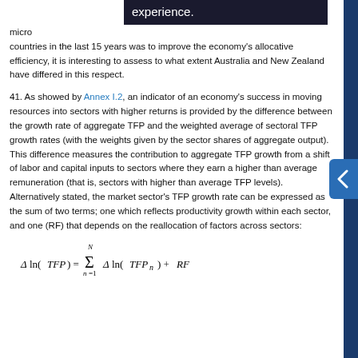experience.
micro countries in the last 15 years was to improve the economy's allocative efficiency, it is interesting to assess to what extent Australia and New Zealand have differed in this respect.
41. As showed by Annex I.2, an indicator of an economy's success in moving resources into sectors with higher returns is provided by the difference between the growth rate of aggregate TFP and the weighted average of sectoral TFP growth rates (with the weights given by the sector shares of aggregate output). This difference measures the contribution to aggregate TFP growth from a shift of labor and capital inputs to sectors where they earn a higher than average remuneration (that is, sectors with higher than average TFP levels). Alternatively stated, the market sector's TFP growth rate can be expressed as the sum of two terms; one which reflects productivity growth within each sector, and one (RF) that depends on the reallocation of factors across sectors: